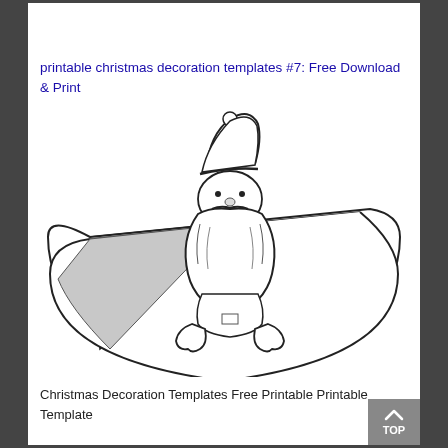printable christmas decoration templates #7: Free Download & Print
[Figure (illustration): A line-art drawing of a Santa Claus figure centered on a large fan/cone shape (Christmas tree skirt template). Santa has a hat, fluffy beard, mustache, and mittened hands. The left portion of the fan shape is shaded gray. The overall shape resembles a circular sector used as a printable template.]
Christmas Decoration Templates Free Printable Printable Template